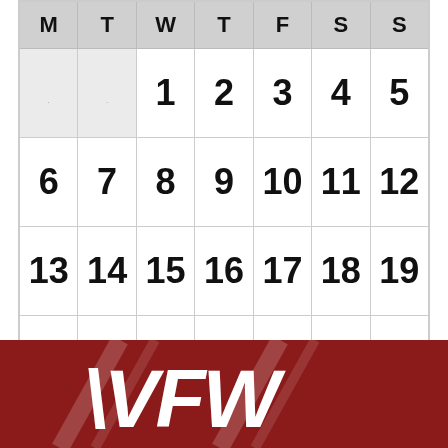| M | T | W | T | F | S | S |
| --- | --- | --- | --- | --- | --- | --- |
|  |  | 1 | 2 | 3 | 4 | 5 |
| 6 | 7 | 8 | 9 | 10 | 11 | 12 |
| 13 | 14 | 15 | 16 | 17 | 18 | 19 |
| 20 | 21 | 22 | 23 | 24 | 25 | 26 |
| 27 | 28 | 29 | 30 |  |  |  |
[Figure (logo): VFW logo — white stylized VFW text on dark red/maroon background with diagonal white stripe accents]